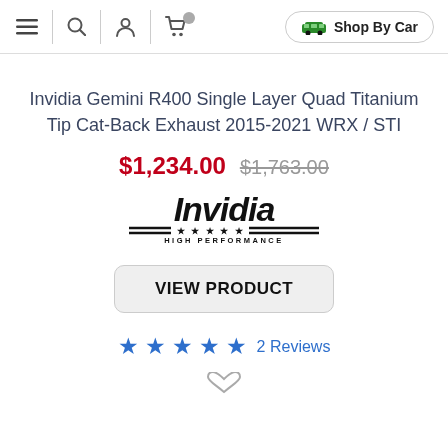Navigation bar with menu, search, account, cart icons and Shop By Car button
Invidia Gemini R400 Single Layer Quad Titanium Tip Cat-Back Exhaust 2015-2021 WRX / STI
$1,234.00   $1,763.00
[Figure (logo): Invidia High Performance brand logo in bold italic black text with stars and horizontal lines]
VIEW PRODUCT
★★★★★ 2 Reviews